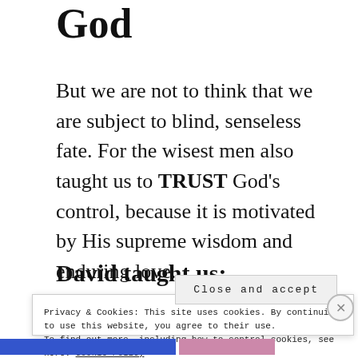God
But we are not to think that we are subject to blind, senseless fate. For the wisest men also taught us to TRUST God's control, because it is motivated by His supreme wisdom and enduring love.
David taught us:
Privacy & Cookies: This site uses cookies. By continuing to use this website, you agree to their use.
To find out more, including how to control cookies, see here: Cookie Policy

Close and accept